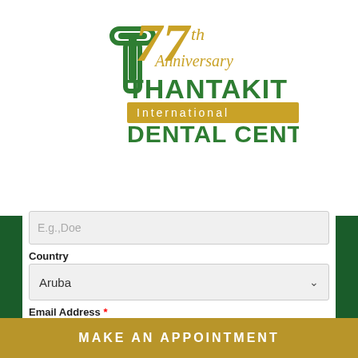[Figure (logo): 77th Anniversary Thantakit International Dental Center logo with green tooth icon and gold/green text]
E.g.,Doe
Country
Aruba
Email Address *
E.g.,john@doe.com
Phone Number *
MAKE AN APPOINTMENT